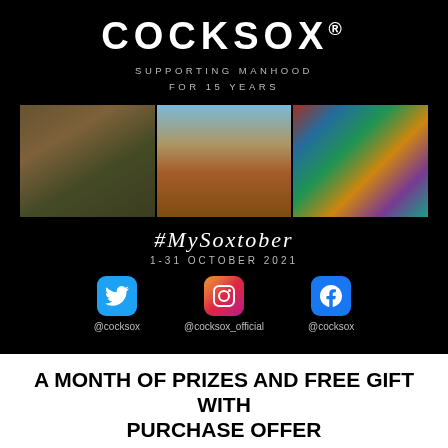[Figure (infographic): Cocksox brand banner on black background with logo, tagline 'Supporting Manhood for 15 Years', three photos (people in store, man at Uluru, colorful underwear display), #MySoxtober hashtag, 1-31 October 2021, and three social media icons: @cocksox (Twitter), @cocksox_official (Instagram), @cocksox (Facebook)]
A MONTH OF PRIZES AND FREE GIFT WITH PURCHASE OFFER
The fifth edition of the #MySoxtober competition also celebrates another landmark - 15 years of Cocksox! As ever, we're handing out daily prizes throughout the